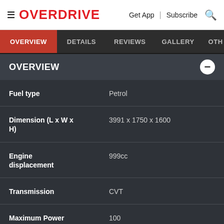OVERDRIVE | Get App | Subscribe
OVERVIEW | DETAILS | REVIEWS | GALLERY | OTH
OVERVIEW
| Specification | Value |
| --- | --- |
| Fuel type | Petrol |
| Dimension (L x W x H) | 3991 x 1750 x 1600 |
| Engine displacement | 999cc |
| Transmission | CVT |
| Maximum Power (ps) | 100 |
| Chas | Advertisement |
| Mile |  |